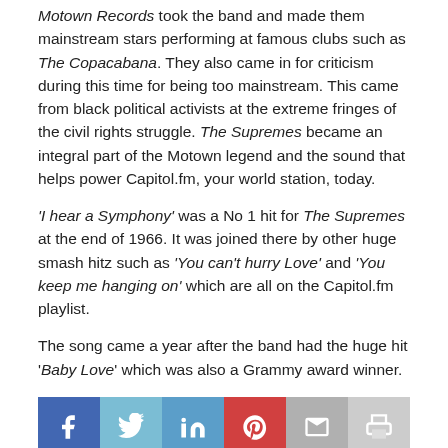Motown Records took the band and made them mainstream stars performing at famous clubs such as The Copacabana. They also came in for criticism during this time for being too mainstream. This came from black political activists at the extreme fringes of the civil rights struggle. The Supremes became an integral part of the Motown legend and the sound that helps power Capitol.fm, your world station, today.
'I hear a Symphony' was a No 1 hit for The Supremes at the end of 1966. It was joined there by other huge smash hitz such as 'You can't hurry Love' and 'You keep me hanging on' which are all on the Capitol.fm playlist.
The song came a year after the band had the huge hit 'Baby Love' which was also a Grammy award winner.
[Figure (other): Social sharing bar with buttons for Facebook, Twitter, LinkedIn, Pinterest, Email, and Print]